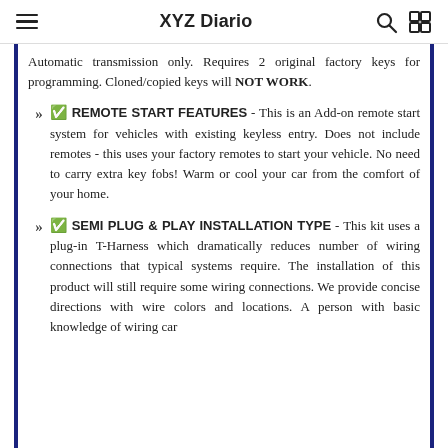XYZ Diario
Automatic transmission only. Requires 2 original factory keys for programming. Cloned/copied keys will NOT WORK.
✅ REMOTE START FEATURES - This is an Add-on remote start system for vehicles with existing keyless entry. Does not include remotes - this uses your factory remotes to start your vehicle. No need to carry extra key fobs! Warm or cool your car from the comfort of your home.
✅ SEMI PLUG & PLAY INSTALLATION TYPE - This kit uses a plug-in T-Harness which dramatically reduces number of wiring connections that typical systems require. The installation of this product will still require some wiring connections. We provide concise directions with wire colors and locations. A person with basic knowledge of wiring car